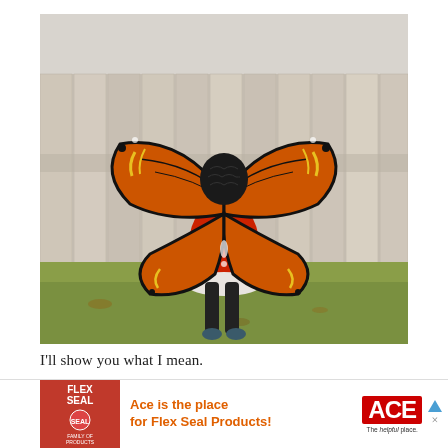[Figure (photo): A young child seen from behind wearing a monarch butterfly costume with large orange and black wings, a black crocheted hood, red dress, and black leggings. The child is standing on grass next to a weathered white wooden fence.]
I'll show you what I mean.
[Figure (photo): Partially visible second photo, blurred/out-of-focus image, appears to show outdoor scene with tree bark visible on left side.]
[Figure (other): Advertisement banner for Ace Hardware / Flex Seal products. Shows Flex Seal Family of Products logo on red background, text 'Ace is the place for Flex Seal Products!' in orange, and Ace Hardware logo with 'The helpful place.' tagline.]